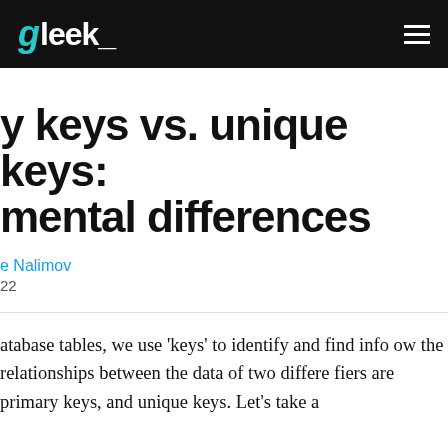gleek_
y keys vs. unique keys: mental differences
e Nalimov
22
atabase tables, we use ‘keys’ to identify and find info ow the relationships between the data of two differe fiers are primary keys, and unique keys. Let’s take a